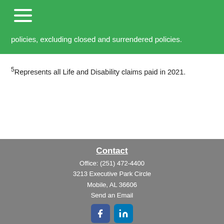policies, excluding closed and surrendered policies.
5Represents all Life and Disability claims paid in 2021.
Contact
Office: (251) 472-4400
3213 Executive Park Circle
Mobile, AL 36606
Send an Email
[Figure (logo): Facebook and LinkedIn social media icons]
Quick Links
Retirement
Investments